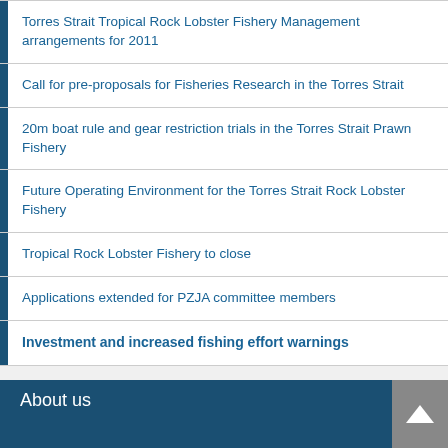Torres Strait Tropical Rock Lobster Fishery Management arrangements for 2011
Call for pre-proposals for Fisheries Research in the Torres Strait
20m boat rule and gear restriction trials in the Torres Strait Prawn Fishery
Future Operating Environment for the Torres Strait Rock Lobster Fishery
Tropical Rock Lobster Fishery to close
Applications extended for PZJA committee members
Investment and increased fishing effort warnings
About us